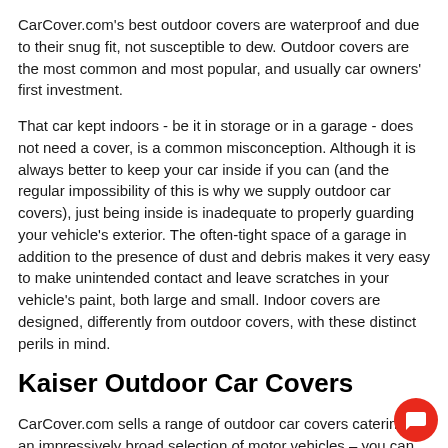CarCover.com's best outdoor covers are waterproof and due to their snug fit, not susceptible to dew. Outdoor covers are the most common and most popular, and usually car owners' first investment.
That car kept indoors - be it in storage or in a garage - does not need a cover, is a common misconception. Although it is always better to keep your car inside if you can (and the regular impossibility of this is why we supply outdoor car covers), just being inside is inadequate to properly guarding your vehicle's exterior. The often-tight space of a garage in addition to the presence of dust and debris makes it very easy to make unintended contact and leave scratches in your vehicle's paint, both large and small. Indoor covers are designed, differently from outdoor covers, with these distinct perils in mind.
Kaiser Outdoor Car Covers
CarCover.com sells a range of outdoor car covers catering to an impressively broad selection of motor vehicles – you can check for yourself, right here on our homepage. At CarCover.com we make use of a 'medalled' tier system to convey, succinctly, what